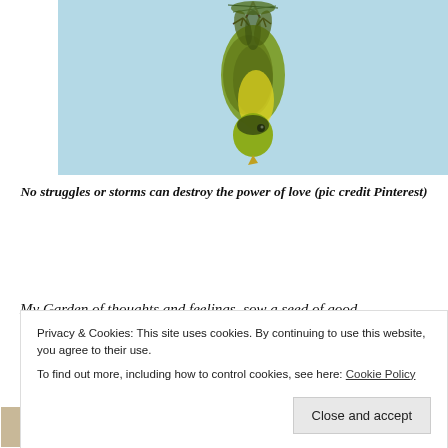[Figure (photo): A yellow-green small bird (warbler/finch type) hanging upside down against a light blue sky background, holding nesting material in its beak.]
No struggles or storms can destroy the power of love (pic credit Pinterest)
My Garden of thoughts and feelings, sow a seed of good
Privacy & Cookies: This site uses cookies. By continuing to use this website, you agree to their use.
To find out more, including how to control cookies, see here: Cookie Policy
Close and accept
[Figure (photo): Bottom thumbnail strip showing partial images of people and scenes.]